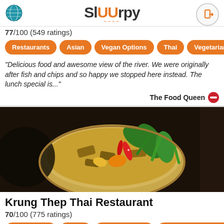Sluurpy
77/100 (549 ratings)
Restaurants | Asian | Vegan Options | Thai | Vegetarian F
"Delicious food and awesome view of the river. We were originally after fish and chips and so happy we stopped here instead. The lunch special is..."
The Food Queen
[Figure (photo): Photo of a Thai curry dish in a bowl with green vegetables, red chili, and orange pieces on a dark background]
Krung Thep Thai Restaurant
70/100 (775 ratings)
Restaurants | Asian | Vegan Options | Gluten Free Options